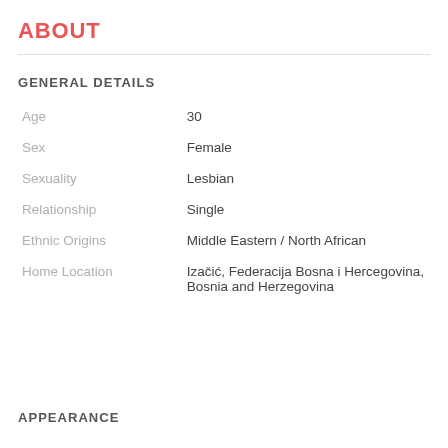ABOUT
GENERAL DETAILS
|  |  |
| --- | --- |
| Age | 30 |
| Sex | Female |
| Sexuality | Lesbian |
| Relationship | Single |
| Ethnic Origins | Middle Eastern / North African |
| Home Location | Izačić, Federacija Bosna i Hercegovina, Bosnia and Herzegovina |
APPEARANCE